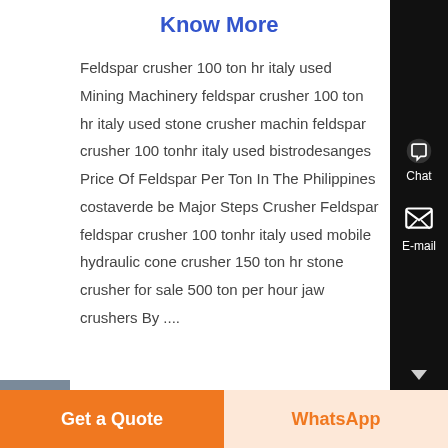Know More
Feldspar crusher 100 ton hr italy used Mining Machinery feldspar crusher 100 ton hr italy used stone crusher machin feldspar crusher 100 tonhr italy used bistrodesanges Price Of Feldspar Per Ton In The Philippines costaverde be Major Steps Crusher Feldspar feldspar crusher 100 tonhr italy used mobile hydraulic cone crusher 150 ton hr stone crusher for sale 500 ton per hour jaw crushers By ....
100 ton per hr crusher for sale
Get a Quote
WhatsApp